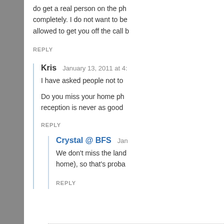do get a real person on the phone completely. I do not want to be allowed to get you off the call b
REPLY
Kris  January 13, 2011 at 4:
I have asked people not to
Do you miss your home ph reception is never as good
REPLY
Crystal @ BFS  Jan
We don't miss the land home), so that's proba
REPLY